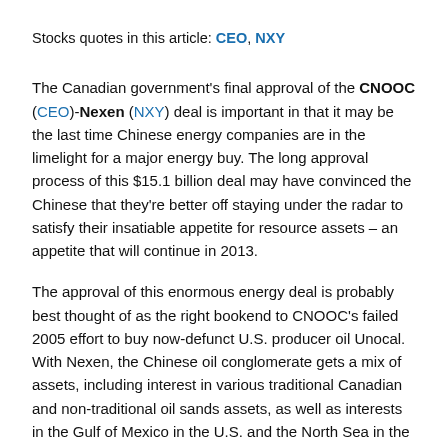Stocks quotes in this article: CEO, NXY
The Canadian government's final approval of the CNOOC (CEO)-Nexen (NXY) deal is important in that it may be the last time Chinese energy companies are in the limelight for a major energy buy. The long approval process of this $15.1 billion deal may have convinced the Chinese that they're better off staying under the radar to satisfy their insatiable appetite for resource assets – an appetite that will continue in 2013.
The approval of this enormous energy deal is probably best thought of as the right bookend to CNOOC's failed 2005 effort to buy now-defunct U.S. producer oil Unocal. With Nexen, the Chinese oil conglomerate gets a mix of assets, including interest in various traditional Canadian and non-traditional oil sands assets, as well as interests in the Gulf of Mexico in the U.S. and the North Sea in the U.K.